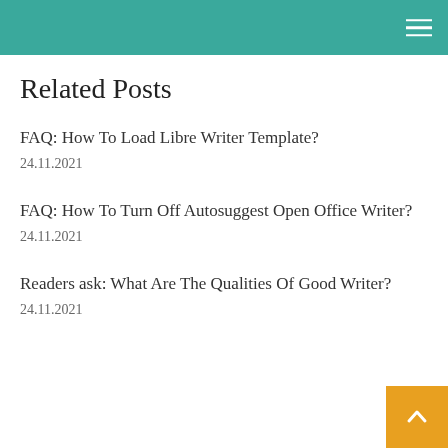Related Posts
FAQ: How To Load Libre Writer Template?
24.11.2021
FAQ: How To Turn Off Autosuggest Open Office Writer?
24.11.2021
Readers ask: What Are The Qualities Of Good Writer?
24.11.2021